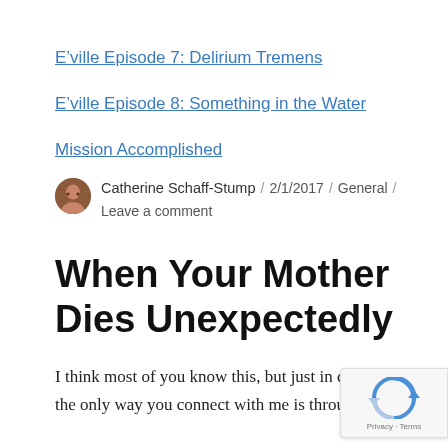E'ville Episode 7: Delirium Tremens
E'ville Episode 8: Something in the Water
Mission Accomplished
Catherine Schaff-Stump / 2/1/2017 / General / Leave a comment
When Your Mother Dies Unexpectedly
I think most of you know this, but just in ca the only way you connect with me is through